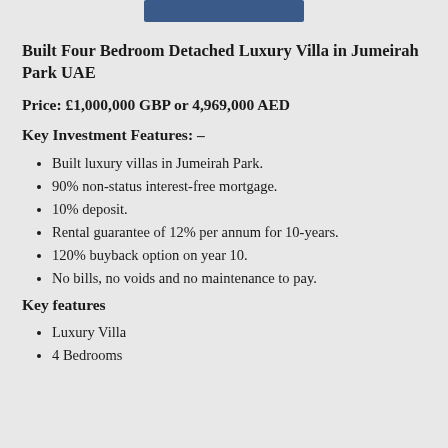Built Four Bedroom Detached Luxury Villa in Jumeirah Park UAE
Price: £1,000,000 GBP or 4,969,000 AED
Key Investment Features: –
Built luxury villas in Jumeirah Park.
90% non-status interest-free mortgage.
10% deposit.
Rental guarantee of 12% per annum for 10-years.
120% buyback option on year 10.
No bills, no voids and no maintenance to pay.
Key features
Luxury Villa
4 Bedrooms